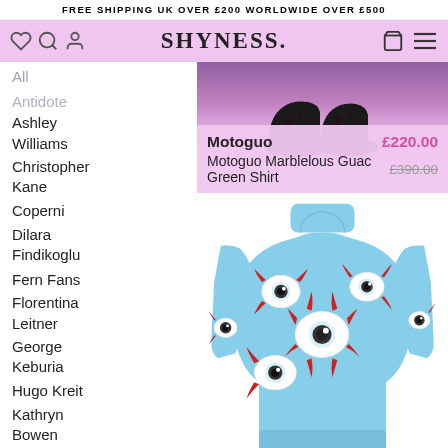FREE SHIPPING UK OVER £200 WORLDWIDE OVER £500
[Figure (screenshot): SHYNESS. fashion retailer website header with logo, navigation icons (heart, search, user, bag, menu), and pink/purple background]
All
Antidote
Ashley Williams
Christopher Kane
Coperni
Dilara Findikoglu
Fern Fans
Florentina Leitner
George Keburia
Hugo Kreit
Kathryn Bowen
Lēo
Magliano
Motoguo | £220.00 | Motoguo Marblelous Guac Green Shirt | £390.00
[Figure (photo): Model wearing a light blue turtleneck sweater with red eyeball graphic print, paired with printed trousers]